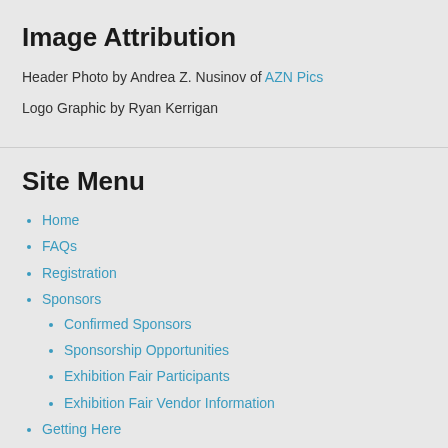Image Attribution
Header Photo by Andrea Z. Nusinov of AZN Pics
Logo Graphic by Ryan Kerrigan
Site Menu
Home
FAQs
Registration
Sponsors
Confirmed Sponsors
Sponsorship Opportunities
Exhibition Fair Participants
Exhibition Fair Vendor Information
Getting Here
Location
Lodging